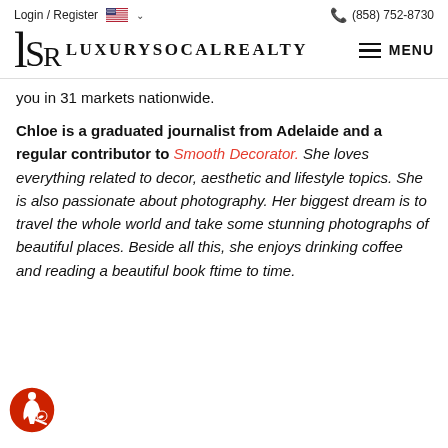Login / Register   (858) 752-8730
[Figure (logo): LuxurySoCalRealty logo with stylized LSR monogram and MENU button]
you in 31 markets nationwide.
Chloe is a graduated journalist from Adelaide and a regular contributor to Smooth Decorator. She loves everything related to decor, aesthetic and lifestyle topics. She is also passionate about photography. Her biggest dream is to travel the whole world and take some stunning photographs of beautiful places. Beside all this, she enjoys drinking coffee and reading a beautiful book from time to time.